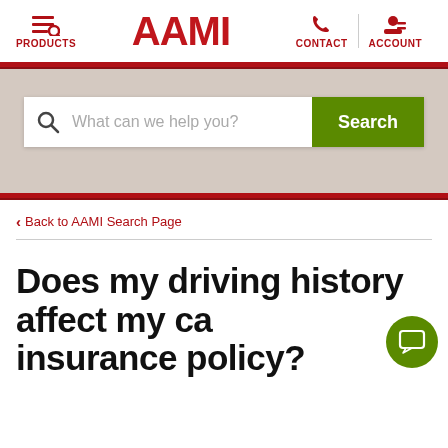PRODUCTS | AAMI | CONTACT | ACCOUNT
[Figure (screenshot): AAMI website search bar with placeholder text 'What can we help you?' and a green Search button]
< Back to AAMI Search Page
Does my driving history affect my car insurance policy?